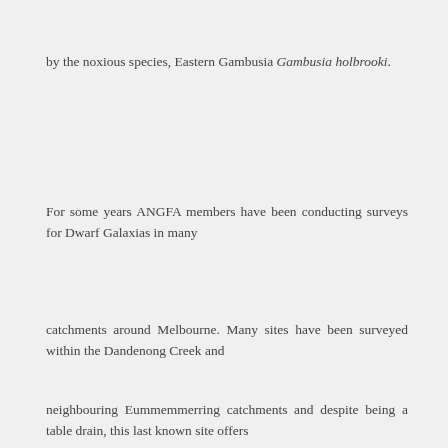by the noxious species, Eastern Gambusia Gambusia holbrooki.
For some years ANGFA members have been conducting surveys for Dwarf Galaxias in many
catchments around Melbourne. Many sites have been surveyed within the Dandenong Creek and
neighbouring Eummemmerring catchments and despite being a table drain, this last known site offers